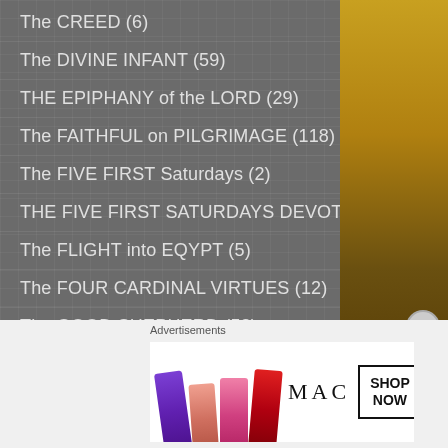The CREED (6)
The DIVINE INFANT (59)
THE EPIPHANY of the LORD (29)
The FAITHFUL on PILGRIMAGE (118)
The FIVE FIRST Saturdays (2)
THE FIVE FIRST SATURDAYS DEVOTION (1)
The FLIGHT into EQYPT (5)
The FOUR CARDINAL VIRTUES (12)
The GOOD SHEPHERD (53)
The HEART (214)
The HOLY CROSS (324)
Advertisements
[Figure (photo): MAC cosmetics advertisement showing lipsticks in purple, peach, pink and red colors with MAC logo and SHOP NOW button]